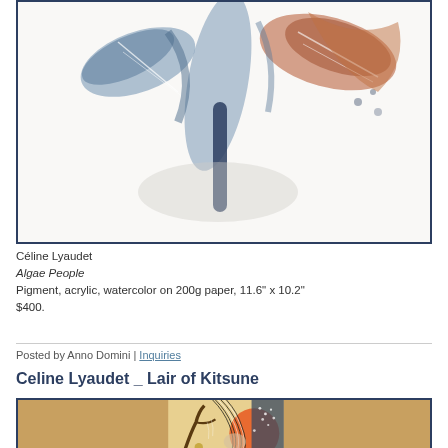[Figure (photo): Artwork by Céline Lyaudet titled 'Algae People' - mixed media painting with bird/feather motifs in blue, brown, and white on white background, shown cropped from above]
Céline Lyaudet
Algae People
Pigment, acrylic, watercolor on 200g paper, 11.6" x 10.2"
$400.
Posted by Anno Domini | Inquiries
Celine Lyaudet _ Lair of Kitsune
[Figure (photo): Artwork by Celine Lyaudet titled 'Lair of Kitsune' - mixed media painting with fox/animal motifs, featuring curved stripes, orange circle, dotted patterns, branches, in orange, dark blue, gold, and white]